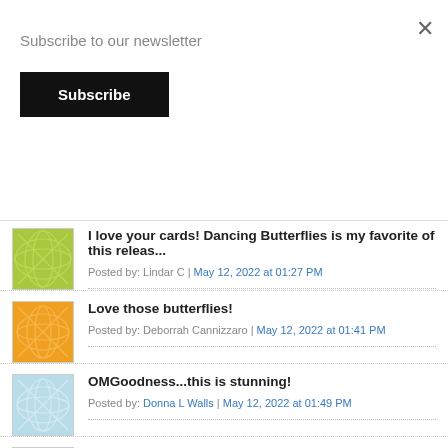Subscribe to our newsletter
Subscribe
×
I love your cards! Dancing Butterflies is my favorite of this release...
Posted by: Lindar C | May 12, 2022 at 01:27 PM
Love those butterflies!
Posted by: Deborrah Cannizzaro | May 12, 2022 at 01:41 PM
OMGoodness...this is stunning!
Posted by: Donna L Walls | May 12, 2022 at 01:49 PM
pretty butterflies!!
Posted by: Jenni King | May 12, 2022 at 01:51 PM